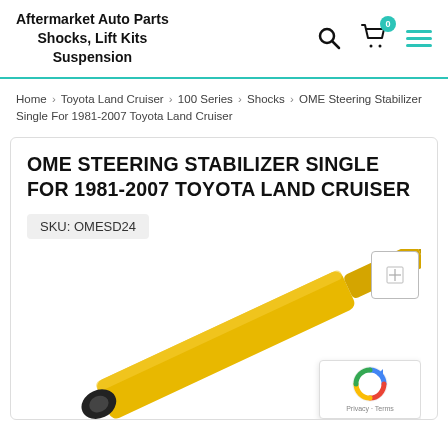Aftermarket Auto Parts Shocks, Lift Kits Suspension
Home > Toyota Land Cruiser > 100 Series > Shocks > OME Steering Stabilizer Single For 1981-2007 Toyota Land Cruiser
OME STEERING STABILIZER SINGLE FOR 1981-2007 TOYOTA LAND CRUISER
SKU: OMESD24
[Figure (photo): Yellow OME steering stabilizer shock absorber shown diagonally, with black end mount visible, against white background. Small zoom icon in top right corner of image area.]